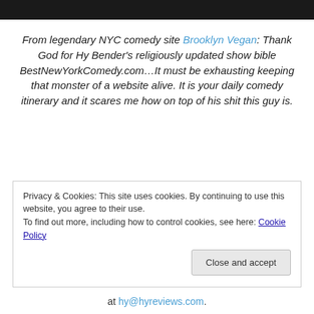From legendary NYC comedy site Brooklyn Vegan: Thank God for Hy Bender's religiously updated show bible BestNewYorkComedy.com…It must be exhausting keeping that monster of a website alive. It is your daily comedy itinerary and it scares me how on top of his shit this guy is.
Privacy & Cookies: This site uses cookies. By continuing to use this website, you agree to their use.
To find out more, including how to control cookies, see here: Cookie Policy
at hy@hyreviews.com.